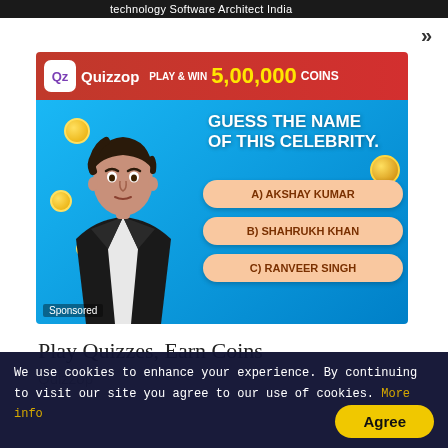technology Software Architect India
[Figure (illustration): Quizzop ad banner: Play & Win 5,00,000 Coins. Guess the name of this celebrity (cartoon illustration of a man in suit). Options: A) AKSHAY KUMAR, B) SHAHRUKH KHAN, C) RANVEER SINGH. Sponsored label in bottom-left.]
Play Quizzes, Earn Coins
Quizzop
We use cookies to enhance your experience. By continuing to visit our site you agree to our use of cookies. More info